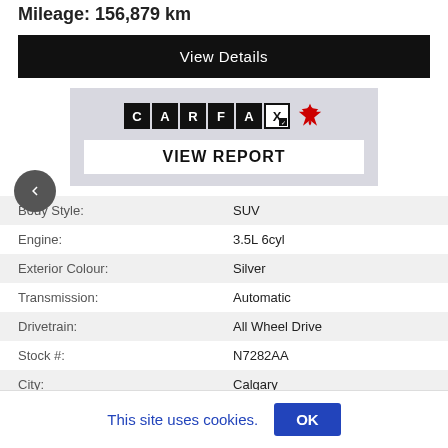Mileage: 156,879 km
View Details
[Figure (logo): CARFAX Canada logo with maple leaf and VIEW REPORT button]
| Body Style: | SUV |
| Engine: | 3.5L 6cyl |
| Exterior Colour: | Silver |
| Transmission: | Automatic |
| Drivetrain: | All Wheel Drive |
| Stock #: | N7282AA |
| City: | Calgary |
This site uses cookies.